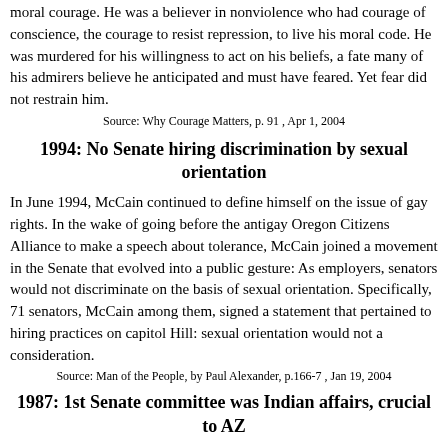moral courage. He was a believer in nonviolence who had courage of conscience, the courage to resist repression, to live his moral code. He was murdered for his willingness to act on his beliefs, a fate many of his admirers believe he anticipated and must have feared. Yet fear did not restrain him.
Source: Why Courage Matters, p. 91 , Apr 1, 2004
1994: No Senate hiring discrimination by sexual orientation
In June 1994, McCain continued to define himself on the issue of gay rights. In the wake of going before the antigay Oregon Citizens Alliance to make a speech about tolerance, McCain joined a movement in the Senate that evolved into a public gesture: As employers, senators would not discriminate on the basis of sexual orientation. Specifically, 71 senators, McCain among them, signed a statement that pertained to hiring practices on capitol Hill: sexual orientation would not a consideration.
Source: Man of the People, by Paul Alexander, p.166-7 , Jan 19, 2004
1987: 1st Senate committee was Indian affairs, crucial to AZ
McCain's committee assignments would prove crucial to the development of his later political career. Having inherited Sen.